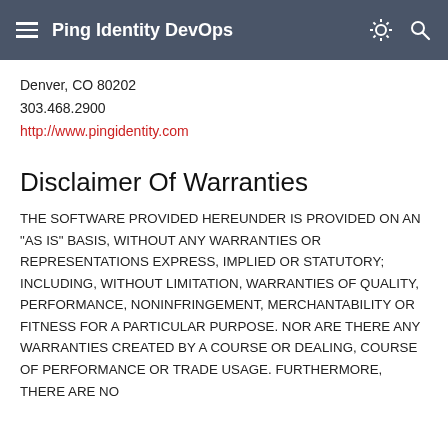Ping Identity DevOps
Denver, CO 80202
303.468.2900
http://www.pingidentity.com
Disclaimer Of Warranties
THE SOFTWARE PROVIDED HEREUNDER IS PROVIDED ON AN "AS IS" BASIS, WITHOUT ANY WARRANTIES OR REPRESENTATIONS EXPRESS, IMPLIED OR STATUTORY; INCLUDING, WITHOUT LIMITATION, WARRANTIES OF QUALITY, PERFORMANCE, NONINFRINGEMENT, MERCHANTABILITY OR FITNESS FOR A PARTICULAR PURPOSE. NOR ARE THERE ANY WARRANTIES CREATED BY A COURSE OR DEALING, COURSE OF PERFORMANCE OR TRADE USAGE. FURTHERMORE, THERE ARE NO